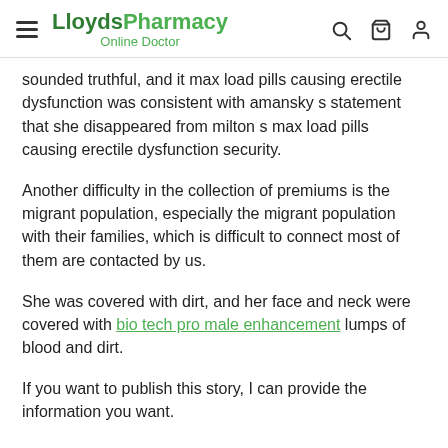LloydsPharmacy Online Doctor
sounded truthful, and it max load pills causing erectile dysfunction was consistent with amansky s statement that she disappeared from milton s max load pills causing erectile dysfunction security.
Another difficulty in the collection of premiums is the migrant population, especially the migrant population with their families, which is difficult to connect most of them are contacted by us.
She was covered with dirt, and her face and neck were covered with bio tech pro male enhancement lumps of blood and dirt.
If you want to publish this story, I can provide the information you want.